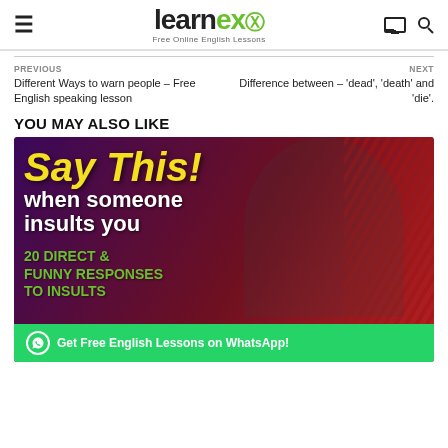learnex – Free Online English Lessons
PREVIOUS
Different Ways to warn people – Free English speaking lesson
NEXT
Difference between – 'dead', 'death' and 'die'.
YOU MAY ALSO LIKE
[Figure (photo): Thumbnail image for a Learnex video titled 'Say This! when someone insults you – 20 Direct & Funny Responses to Insults', showing a man pointing with bold yellow and white text on a dark red/purple background.]
Get Free English Lessons on WhatsApp!